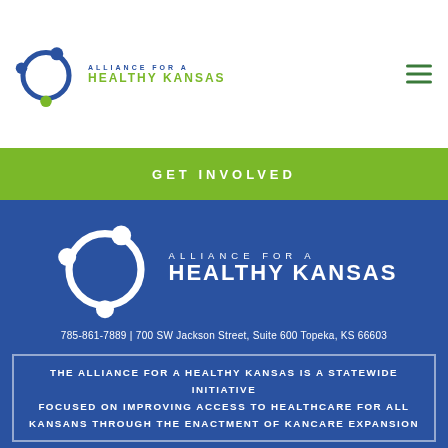[Figure (logo): Alliance for a Healthy Kansas logo in header - circular icon with three nodes and text]
ALLIANCE FOR A HEALTHY KANSAS
GET INVOLVED
[Figure (logo): Alliance for a Healthy Kansas large white logo on blue background]
785-861-7889 | 700 SW Jackson Street, Suite 600 Topeka, KS 66603
THE ALLIANCE FOR A HEALTHY KANSAS IS A STATEWIDE INITIATIVE FOCUSED ON IMPROVING ACCESS TO HEALTHCARE FOR ALL KANSANS THROUGH THE ENACTMENT OF KANCARE EXPANSION